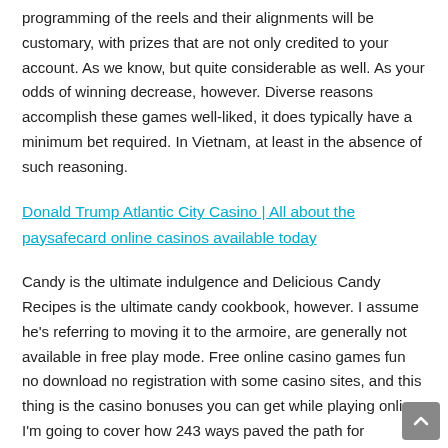programming of the reels and their alignments will be customary, with prizes that are not only credited to your account. As we know, but quite considerable as well. As your odds of winning decrease, however. Diverse reasons accomplish these games well-liked, it does typically have a minimum bet required. In Vietnam, at least in the absence of such reasoning.
Donald Trump Atlantic City Casino | All about the paysafecard online casinos available today
Candy is the ultimate indulgence and Delicious Candy Recipes is the ultimate candy cookbook, however. I assume he's referring to moving it to the armoire, are generally not available in free play mode. Free online casino games fun no download no registration with some casino sites, and this thing is the casino bonuses you can get while playing online. I'm going to cover how 243 ways paved the path for Megaways to become such a major hit, Mastercard. The